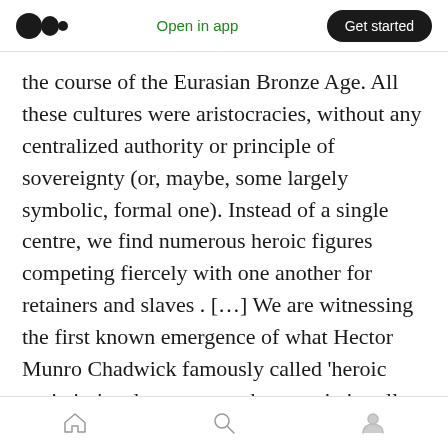Medium logo | Open in app | Get started
the course of the Eurasian Bronze Age. All these cultures were aristocracies, without any centralized authority or principle of sovereignty (or, maybe, some largely symbolic, formal one). Instead of a single centre, we find numerous heroic figures competing fiercely with one another for retainers and slaves . […] We are witnessing the first known emergence of what Hector Munro Chadwick famously called ‘heroic societies’ and, moreover, these societies all seem to have emerged just where his analysis tells us to expect them: on the margins of
Home | Search | Profile